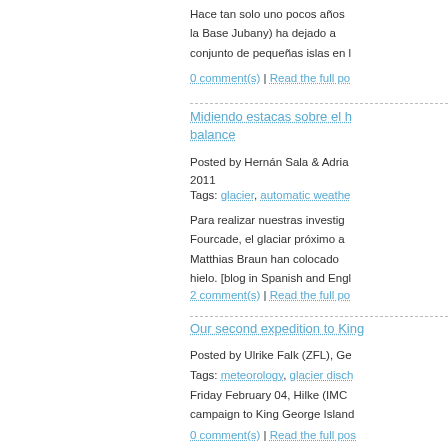Hace tan solo uno pocos años la Base Jubany) ha dejado a conjunto de pequeñas islas en l
0 comment(s) | Read the full po
Midiendo estacas sobre el h balance
Posted by Hernán Sala & Adria 2011
Tags: glacier, automatic weathe
Para realizar nuestras investig Fourcade, el glaciar próximo a Matthias Braun han colocado hielo. [blog in Spanish and Engl
2 comment(s) | Read the full po
Our second expedition to King
Posted by Ulrike Falk (ZFL), Ge
Tags: meteorology, glacier disch
Friday February 04, Hilke (IMC campaign to King George Island
0 comment(s) | Read the full pos